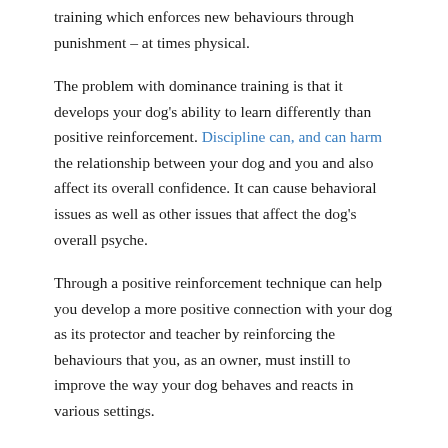training which enforces new behaviours through punishment – at times physical.
The problem with dominance training is that it develops your dog's ability to learn differently than positive reinforcement. Discipline can, and can harm the relationship between your dog and you and also affect its overall confidence. It can cause behavioral issues as well as other issues that affect the dog's overall psyche.
Through a positive reinforcement technique can help you develop a more positive connection with your dog as its protector and teacher by reinforcing the behaviours that you, as an owner, must instill to improve the way your dog behaves and reacts in various settings.
Brain Training for Dogs focuses on this exact teaching method by providing informative text, videos along with Q&A discussions, and even testimonials that help give you a view on how to introduce this positive-based learning method to your household. Adrianne Farricelli packages this in a simple and affordable solution that you